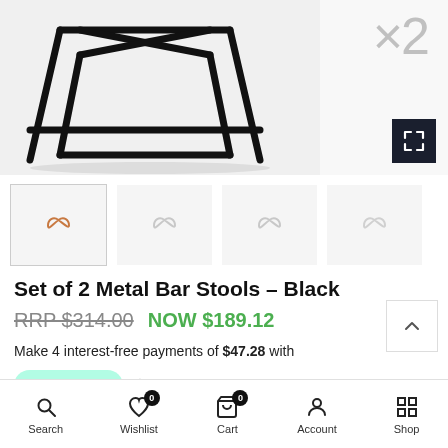[Figure (photo): Product image of metal bar stool legs (black tubular frame) on white background, with 'x2' text indicating set of 2, and a fullscreen expand button]
[Figure (illustration): Row of 4 thumbnail images showing infinity/loop brand icons for product variants]
Set of 2 Metal Bar Stools – Black
RRP $314.00  NOW $189.12
Make 4 interest-free payments of $47.28 with
afterpay
Search  Wishlist  Cart  Account  Shop